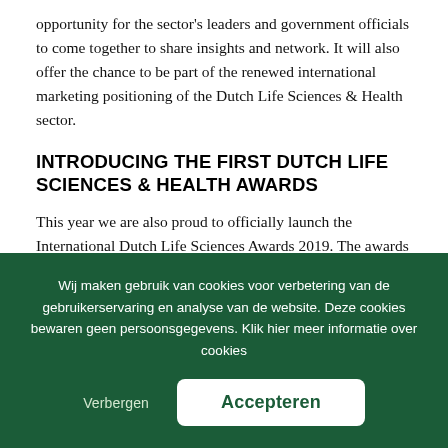opportunity for the sector's leaders and government officials to come together to share insights and network. It will also offer the chance to be part of the renewed international marketing positioning of the Dutch Life Sciences & Health sector.
INTRODUCING THE FIRST DUTCH LIFE SCIENCES & HEALTH AWARDS
This year we are also proud to officially launch the International Dutch Life Sciences Awards 2019. The awards will be presented to the best new, established and patient-centered companies helping to drive and inspire the Dutch Life
Wij maken gebruik van cookies voor verbetering van de gebruikerservaring en analyse van de website. Deze cookies bewaren geen persoonsgegevens. Klik hier meer informatie over cookies
Verbergen
Accepteren